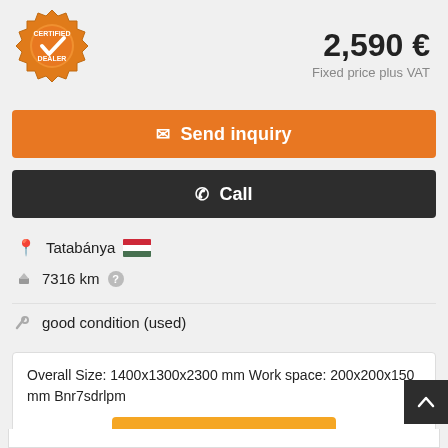[Figure (logo): Certified Dealer badge/seal with gear shape, orange color, checkmark in center]
2,590 €
Fixed price plus VAT
Send inquiry
Call
Tatabánya
7316 km
good condition (used)
Overall Size: 1400x1300x2300 mm Work space: 200x200x150 mm Bnr7sdrlpm
Save search query